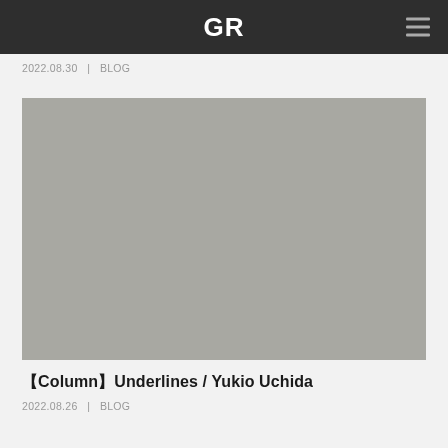GR
2022.08.30  |  BLOG
[Figure (photo): Large grey placeholder image for a blog article]
【Column】Underlines / Yukio Uchida
2022.08.26  |  BLOG